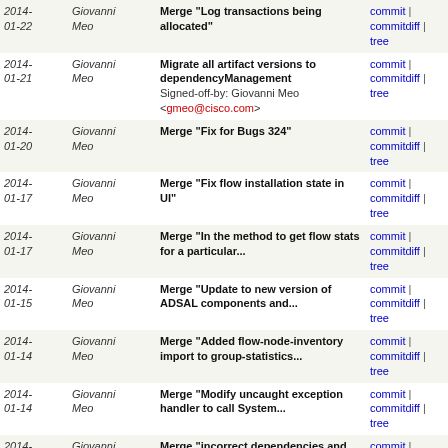| Date | Author | Commit message | Links |
| --- | --- | --- | --- |
| 2014-01-22 | Giovanni Meo | Merge "Log transactions being allocated" | commit | commitdiff | tree |
| 2014-01-21 | Giovanni Meo | Migrate all artifact versions to dependencyManagement
Signed-off-by: Giovanni Meo <gmeo@cisco.com> | commit | commitdiff | tree |
| 2014-01-20 | Giovanni Meo | Merge "Fix for Bugs 324" | commit | commitdiff | tree |
| 2014-01-17 | Giovanni Meo | Merge "Fix flow installation state in UI" | commit | commitdiff | tree |
| 2014-01-17 | Giovanni Meo | Merge "In the method to get flow stats for a particular... | commit | commitdiff | tree |
| 2014-01-15 | Giovanni Meo | Merge "Update to new version of ADSAL components and... | commit | commitdiff | tree |
| 2014-01-14 | Giovanni Meo | Merge "Added flow-node-inventory import to group-statistics... | commit | commitdiff | tree |
| 2014-01-14 | Giovanni Meo | Merge "Modify uncaught exception handler to call System... | commit | commitdiff | tree |
| 2014-01-13 | Giovanni Meo | Merge "incorrect dependencies and unnecesary export... | commit | commitdiff | tree |
| 2014-01-09 | Giovanni Meo | Merge "Addressing a flow programming issues on controler... | commit | commitdiff | tree |
| 2014-01-09 | Giovanni Meo | Merge "Fix run.sh to work from any directory." | commit | commitdiff | tree |
| 2013-12-17 | Giovanni Meo | Merge "Netconf SSH user authentication using UserManager" | commit | commitdiff | tree |
| 2013- | Giovanni | Merge changes I1474351f,I2ddc5ffa | commit | commitdiff | tree |